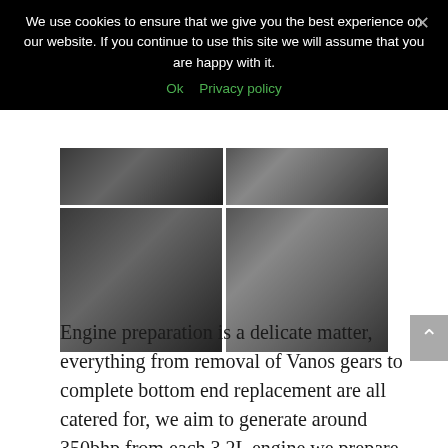We use cookies to ensure that we give you the best experience on our website. If you continue to use this site we will assume that you are happy with it.
Ok   Privacy policy
[Figure (photo): Two rows of car interior photos showing roll cage, dashboard with steering wheel and Recaro racing seat.]
Engine preparation is a delicate matter, everything from removal of Vanos gears to complete bottom end replacement are all catered for, we aim to generate around 350bhp from each 3.2L engine we prepare, obviously budget is the only real contraint here.